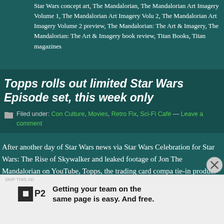Tags: Disney Parks, Disney Plus, Ludwig Göransson, Star Wars concept art, The Mandalorian, The Mandalorian Art Imagery Volume 1, The Mandalorian Art Imagery Volume 2, The Mandalorian Art Imagery Volume 2 preview, The Mandalorian: The Art & Imagery, The Mandalorian: The Art & Imagery book review, Titan Books, Titan magazines
Topps rolls out limited Star Wars Episode set, this week only
Filed under: Con Culture, Movies, Retro Fix, Sci-Fi Café — Leave a comment
After another day of Star Wars news via Star Wars Celebration for Star Wars: The Rise of Skywalker and leaked footage of Jon The Mandalorian on YouTube, Topps, the trading card company tie-in product for Episode IX, but you'll need to act quickly [...]
Getting your team on the same page is easy. And free.